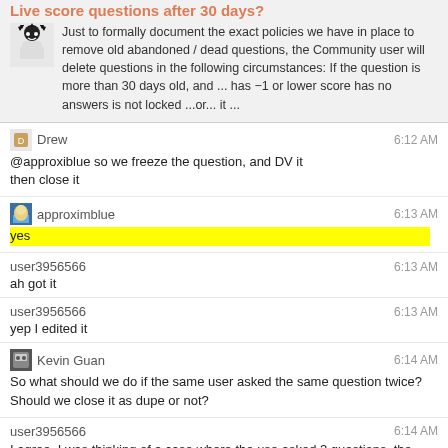Live score questions after 30 days?
Just to formally document the exact policies we have in place to remove old abandoned / dead questions, the Community user will delete questions in the following circumstances: If the question is more than 30 days old, and ... has −1 or lower score has no answers is not locked ...or... it ...
Drew  6:12 AM
@approxiblue so we freeze the question, and DV it
then close it
approximblue  6:13 AM
yes
user3956566  6:13 AM
ah got it
user3956566  6:13 AM
yep I edited it
Kevin Guan  6:14 AM
So what should we do if the same user asked the same question twice? Should we close it as dupe or not?
user3956566  6:14 AM
I agree, I was thinking of a case where the use asked 3 questions, the original one was not bad, but it was duped twice
user3956566  6:14 AM
@KevinGuan have a look at my revised answer
meta.stackoverflow.com/a/311782/3956566